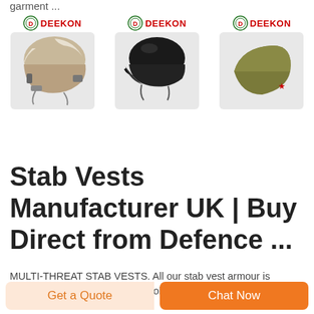garment ...
[Figure (photo): Three military/tactical helmets with DEEKON branding: left - tan/beige tactical fast helmet with straps, center - black steel helmet, right - olive/khaki garrison cap]
Stab Vests Manufacturer UK | Buy Direct from Defence ...
MULTI-THREAT STAB VESTS. All our stab vest armour is manufactured from a modified polycarbonate shell and
Get a Quote
Chat Now